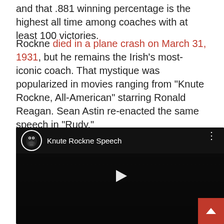and that .881 winning percentage is the highest all time among coaches with at least 100 victories.
Rockne died in a plane crash on March 31, 1931, but he remains the Irish's most-iconic coach. That mystique was popularized in movies ranging from “Knute Rockne, All-American” starring Ronald Reagan. Sean Astin re-enacted the same speech in “Rudy.”
[Figure (screenshot): Embedded YouTube video player showing 'Knute Rockne Speech' with a gorilla logo icon, dark cinematic background, and a play button in the center. A red back-to-top button appears in the bottom-right corner.]